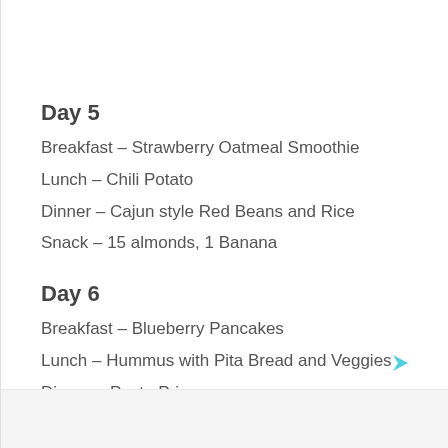Day 5
Breakfast – Strawberry Oatmeal Smoothie
Lunch – Chili Potato
Dinner – Cajun style Red Beans and Rice
Snack – 15 almonds, 1 Banana
Day 6
Breakfast – Blueberry Pancakes
Lunch – Hummus with Pita Bread and Veggies
Dinner – Pasta Primavera
Snack – 1 Apple, sliced
Day 7
Breakfast – Zucchini Muffins